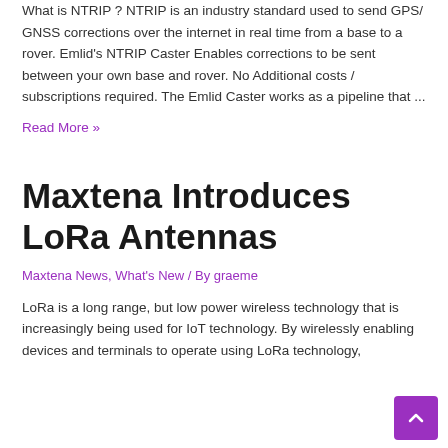What is NTRIP? NTRIP is an industry standard used to send GPS/GNSS corrections over the internet in real time from a base to a rover. Emlid's NTRIP Caster Enables corrections to be sent between your own base and rover. No Additional costs / subscriptions required. The Emlid Caster works as a pipeline that ...
Read More »
Maxtena Introduces LoRa Antennas
Maxtena News, What's New / By graeme
LoRa is a long range, but low power wireless technology that is increasingly being used for IoT technology. By wirelessly enabling devices and terminals to operate using LoRa technology,